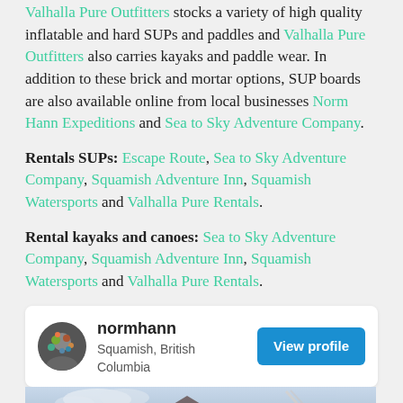Valhalla Pure Outfitters stocks a variety of high quality inflatable and hard SUPs and paddles and Valhalla Pure Outfitters also carries kayaks and paddle wear. In addition to these brick and mortar options, SUP boards are also available online from local businesses Norm Hann Expeditions and Sea to Sky Adventure Company.
Rentals SUPs: Escape Route, Sea to Sky Adventure Company, Squamish Adventure Inn, Squamish Watersports and Valhalla Pure Rentals.
Rental kayaks and canoes: Sea to Sky Adventure Company, Squamish Adventure Inn, Squamish Watersports and Valhalla Pure Rentals.
[Figure (infographic): Profile card for normhann, Squamish, British Columbia with a View profile button, followed by a mountain landscape photo with social sharing icons (Facebook, Twitter, Pinterest) overlaid on the bottom left.]